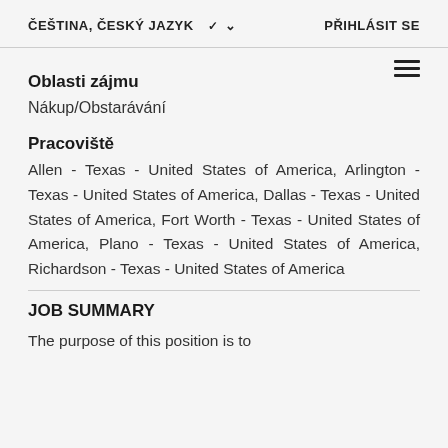ČEŠTINA, ČESKÝ JAZYK   PŘIHLÁSIT SE
Oblasti zájmu
Nákup/Obstarávání
Pracoviště
Allen - Texas - United States of America, Arlington - Texas - United States of America, Dallas - Texas - United States of America, Fort Worth - Texas - United States of America, Plano - Texas - United States of America, Richardson - Texas - United States of America
JOB SUMMARY
The purpose of this position is to